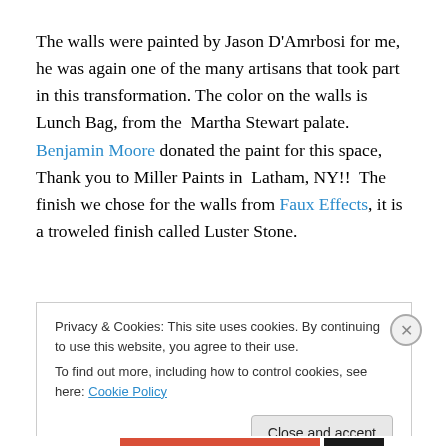The walls were painted by Jason D'Amrbosi for me, he was again one of the many artisans that took part in this transformation. The color on the walls is Lunch Bag, from the  Martha Stewart palate. Benjamin Moore donated the paint for this space, Thank you to Miller Paints in  Latham, NY!!  The finish we chose for the walls from Faux Effects, it is a troweled finish called Luster Stone.
Privacy & Cookies: This site uses cookies. By continuing to use this website, you agree to their use. To find out more, including how to control cookies, see here: Cookie Policy
Close and accept